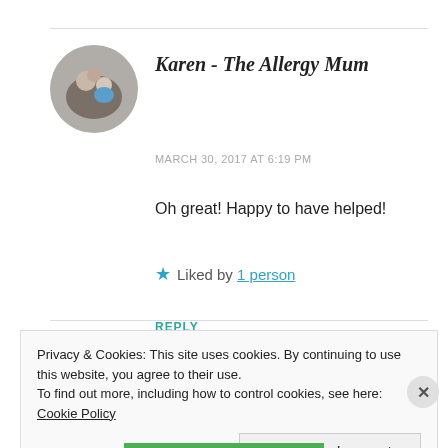[Figure (photo): Circular avatar photo of Karen - The Allergy Mum showing a woman with two children]
Karen - The Allergy Mum
MARCH 30, 2017 AT 6:19 PM
Oh great! Happy to have helped!
★ Liked by 1 person
REPLY
Privacy & Cookies: This site uses cookies. By continuing to use this website, you agree to their use.
To find out more, including how to control cookies, see here: Cookie Policy
Close and accept